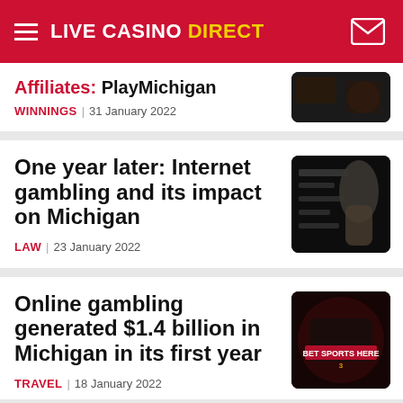LIVE CASINO DIRECT
Affiliates: PlayMichigan
WINNINGS | 31 January 2022
One year later: Internet gambling and its impact on Michigan
LAW | 23 January 2022
Online gambling generated $1.4 billion in Michigan in its first year
TRAVEL | 18 January 2022